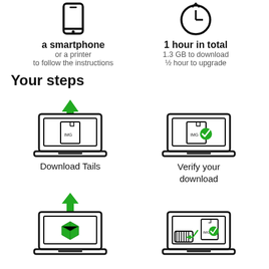[Figure (illustration): Icon of a smartphone (top-left)]
[Figure (illustration): Icon of a clock/timer (top-right)]
a smartphone
or a printer
to follow the instructions
1 hour in total
1.3 GB to download
½ hour to upgrade
Your steps
[Figure (illustration): Laptop with green download arrow and IMG file icon — Download Tails step]
[Figure (illustration): Laptop with IMG file and green checkmark — Verify your download step]
Download Tails
Verify your download
[Figure (illustration): Laptop with green download arrow and green 3D box icon — install step]
[Figure (illustration): Laptop with USB stick and IMG file being flashed — flash step]